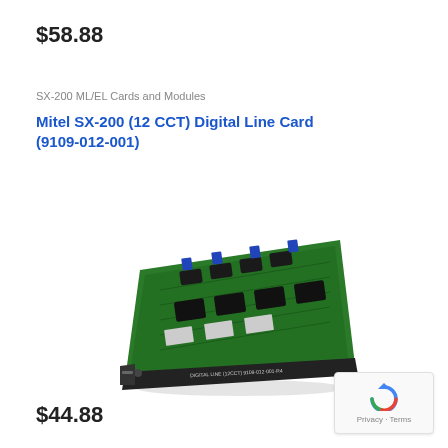$58.88
SX-200 ML/EL Cards and Modules
Mitel SX-200 (12 CCT) Digital Line Card (9109-012-001)
[Figure (photo): Photo of a Mitel SX-200 12 CCT Digital Line Card (9109-012-001), a green PCB with blue connectors and black edge bracket, labeled DIGITAL LINE (12CCT) 9109-012-001 on the front panel.]
$44.88